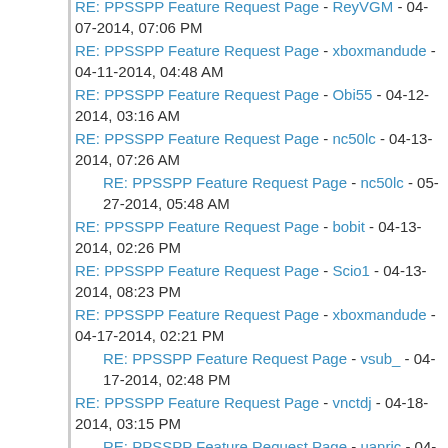RE: PPSSPP Feature Request Page - ReyVGM - 04-07-2014, 07:06 PM
RE: PPSSPP Feature Request Page - xboxmandude - 04-11-2014, 04:48 AM
RE: PPSSPP Feature Request Page - Obi55 - 04-12-2014, 03:16 AM
RE: PPSSPP Feature Request Page - nc50lc - 04-13-2014, 07:26 AM
RE: PPSSPP Feature Request Page - nc50lc - 05-27-2014, 05:48 AM
RE: PPSSPP Feature Request Page - bobit - 04-13-2014, 02:26 PM
RE: PPSSPP Feature Request Page - Scio1 - 04-13-2014, 08:23 PM
RE: PPSSPP Feature Request Page - xboxmandude - 04-17-2014, 02:21 PM
RE: PPSSPP Feature Request Page - vsub_ - 04-17-2014, 02:48 PM
RE: PPSSPP Feature Request Page - vnctdj - 04-18-2014, 03:15 PM
RE: PPSSPP Feature Request Page - uanric - 04-19-2014, 07:06 AM
RE: PPSSPP Feature Request Page - bobit - 04-18-2014, 10:29 PM
RE: PPSSPP Feature Request Page - vnctdj - 04-19-2014, 03:42 PM
RE: PPSSPP Feature Request Page - akimikage - 04-21-2014, 02:53 PM
RE: PPSSPP Feature Request Page - xboxmandude - 04-23-2014, 06:00 PM
RE: PPSSPP Feature Request Page - Homo87 - 04-24-2014, 03:28 PM